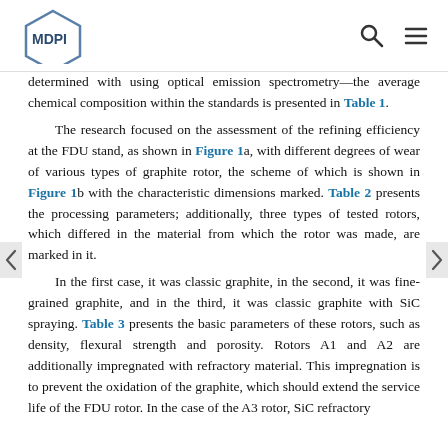MDPI [logo] [search icon] [menu icon]
determined with using optical emission spectrometry—the average chemical composition within the standards is presented in Table 1.
The research focused on the assessment of the refining efficiency at the FDU stand, as shown in Figure 1a, with different degrees of wear of various types of graphite rotor, the scheme of which is shown in Figure 1b with the characteristic dimensions marked. Table 2 presents the processing parameters; additionally, three types of tested rotors, which differed in the material from which the rotor was made, are marked in it.
In the first case, it was classic graphite, in the second, it was fine-grained graphite, and in the third, it was classic graphite with SiC spraying. Table 3 presents the basic parameters of these rotors, such as density, flexural strength and porosity. Rotors A1 and A2 are additionally impregnated with refractory material. This impregnation is to prevent the oxidation of the graphite, which should extend the service life of the FDU rotor. In the case of the A3 rotor, SiC refractory